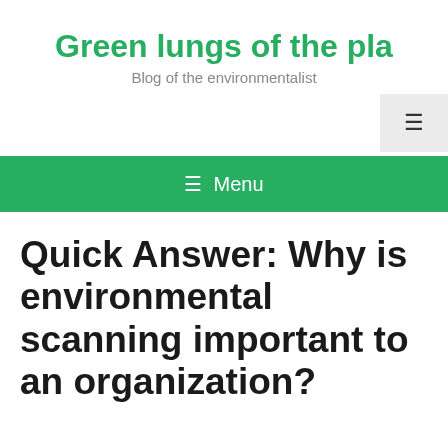Green lungs of the pla
Blog of the environmentalist
☰ Menu
Quick Answer: Why is environmental scanning important to an organization?